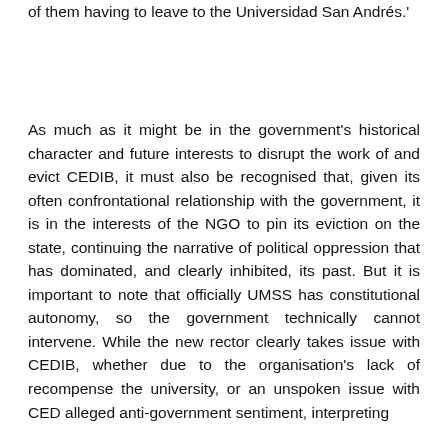of them having to leave to the Universidad San Andrés.'
As much as it might be in the government's historical character and future interests to disrupt the work of and evict CEDIB, it must also be recognised that, given its often confrontational relationship with the government, it is in the interests of the NGO to pin its eviction on the state, continuing the narrative of political oppression that has dominated, and clearly inhibited, its past. But it is important to note that officially UMSS has constitutional autonomy, so the government technically cannot intervene. While the new rector clearly takes issue with CEDIB, whether due to the organisation's lack of recompense the university, or an unspoken issue with CED alleged anti-government sentiment, interpreting